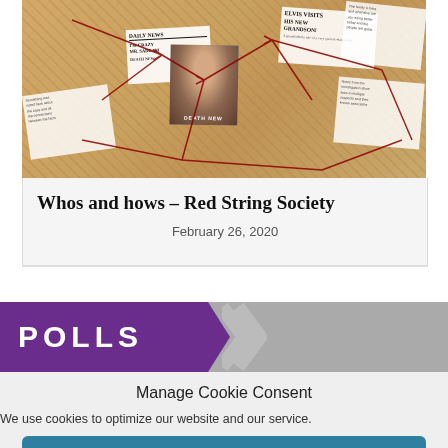[Figure (photo): Cork board with papers, newspaper clippings, a photo of a person, and red strings connecting them — conspiracy board style image]
Whos and hows – Red String Society
February 26, 2020
POLLS
Manage Cookie Consent
We use cookies to optimize our website and our service.
Accept